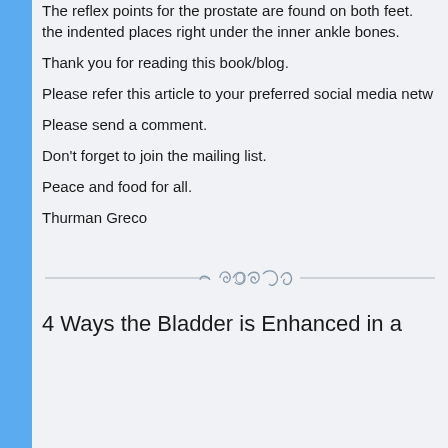The reflex points for the prostate are found on both feet. the indented places right under the inner ankle bones.
Thank you for reading this book/blog.
Please refer this article to your preferred social media netw
Please send a comment.
Don’t forget to join the mailing list.
Peace and food for all.
Thurman Greco
[Figure (illustration): Decorative divider with ornamental scrollwork design]
4 Ways the Bladder is Enhanced in a